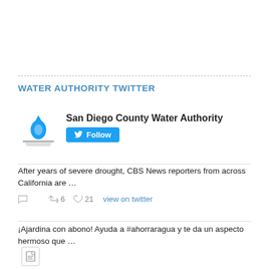WATER AUTHORITY TWITTER
[Figure (logo): San Diego County Water Authority logo with blue water drop icon and text]
San Diego County Water Authority
Follow
After years of severe drought, CBS News reporters from across California are ...
6  21  view on twitter
¡Ajardina con abono! Ayuda a #ahorraragua y te da un aspecto hermoso que ...